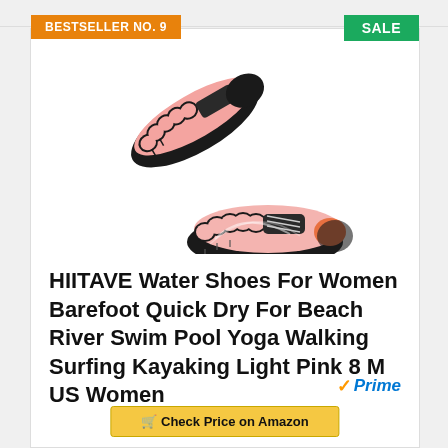BESTSELLER NO. 9
SALE
[Figure (photo): Two pink and black barefoot water shoes (HIITAVE brand) shown from a top-angled perspective, one viewed from above and one from the side, featuring toe-separated soles and lace-up design.]
HIITAVE Water Shoes For Women Barefoot Quick Dry For Beach River Swim Pool Yoga Walking Surfing Kayaking Light Pink 8 M US Women
Prime
Check Price on Amazon